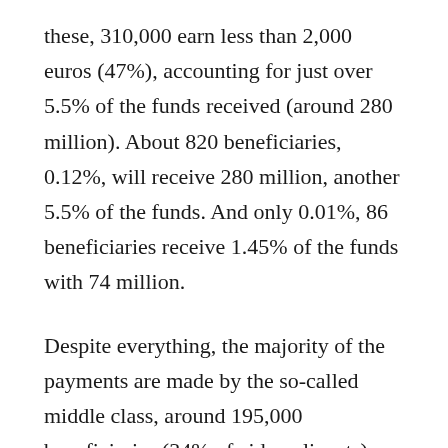these, 310,000 earn less than 2,000 euros (47%), accounting for just over 5.5% of the funds received (around 280 million). About 820 beneficiaries, 0.12%, will receive 280 million, another 5.5% of the funds. And only 0.01%, 86 beneficiaries receive 1.45% of the funds with 74 million.
Despite everything, the majority of the payments are made by the so-called middle class, around 195,000 beneficiaries (34% of aid applicants), who put in between 5,000 and 50,000 euros and take almost 60% of the total (3,080 million), and this is the